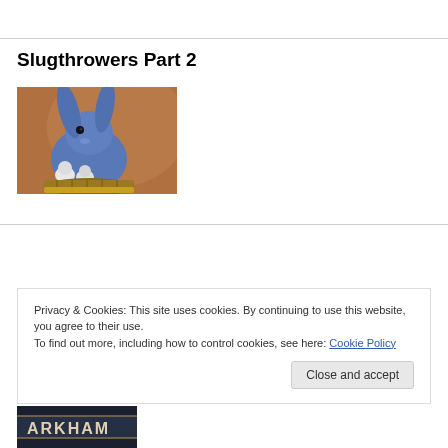Slugthrowers Part 2
[Figure (photo): A blue-colored rabbit or bunny-like creature sitting in a basket, holding small chick-like birds, with a golden/warm background.]
Privacy & Cookies: This site uses cookies. By continuing to use this website, you agree to their use.
To find out more, including how to control cookies, see here: Cookie Policy
Close and accept
[Figure (photo): Partial bottom image showing text 'ARKHAM' with a dark background, partially visible at the bottom of the page.]